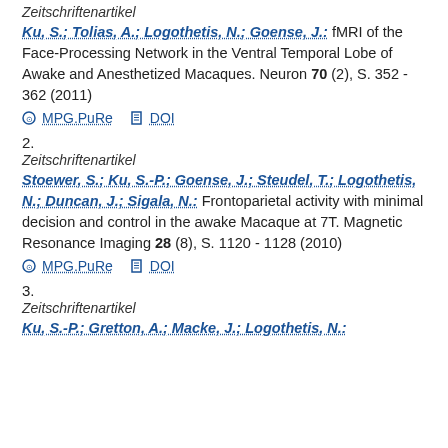Zeitschriftenartikel
Ku, S.; Tolias, A.; Logothetis, N.; Goense, J.: fMRI of the Face-Processing Network in the Ventral Temporal Lobe of Awake and Anesthetized Macaques. Neuron 70 (2), S. 352 - 362 (2011)
MPG.PuRe   DOI
2.
Zeitschriftenartikel
Stoewer, S.; Ku, S.-P.; Goense, J.; Steudel, T.; Logothetis, N.; Duncan, J.; Sigala, N.: Frontoparietal activity with minimal decision and control in the awake Macaque at 7T. Magnetic Resonance Imaging 28 (8), S. 1120 - 1128 (2010)
MPG.PuRe   DOI
3.
Zeitschriftenartikel
Ku, S.-P.; Gretton, A.; Macke, J.; Logothetis, N.: